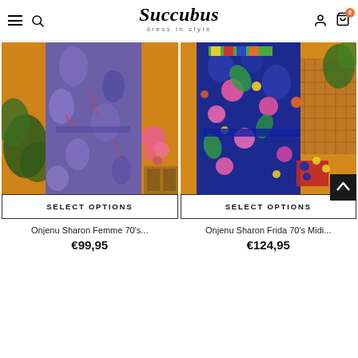Succubus – dress in style
[Figure (photo): Product photo of Onjenu Sharon Femme 70's dress, floral/paisley print, purple and blue tones, long sleeves, orange background]
SELECT OPTIONS
Onjenu Sharon Femme 70's...
€99,95
[Figure (photo): Product photo of Onjenu Sharon Frida 70's Midi dress, colorful tropical print, blue/pink/green tones, orange background]
SELECT OPTIONS
Onjenu Sharon Frida 70's Midi...
€124,95